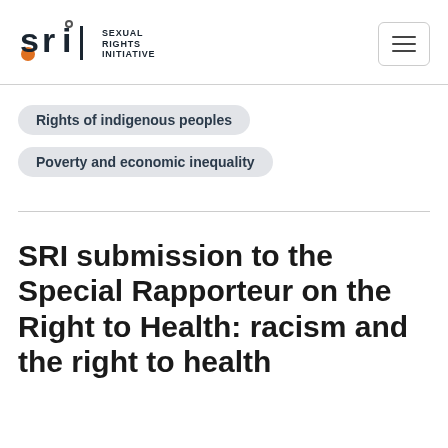[Figure (logo): Sexual Rights Initiative (SRI) logo with stylized 'sri' letters and orange/dark accent, alongside text 'SEXUAL RIGHTS INITIATIVE']
Rights of indigenous peoples
Poverty and economic inequality
SRI submission to the Special Rapporteur on the Right to Health: racism and the right to health